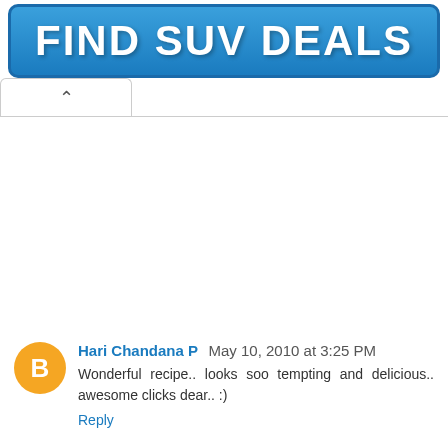[Figure (screenshot): Blue banner button with white bold text reading 'FIND SUV DEALS']
[Figure (screenshot): Tab with up arrow (collapse) indicator below the banner]
Hari Chandana P  May 10, 2010 at 3:25 PM
Wonderful recipe.. looks soo tempting and delicious.. awesome clicks dear.. :)
Reply